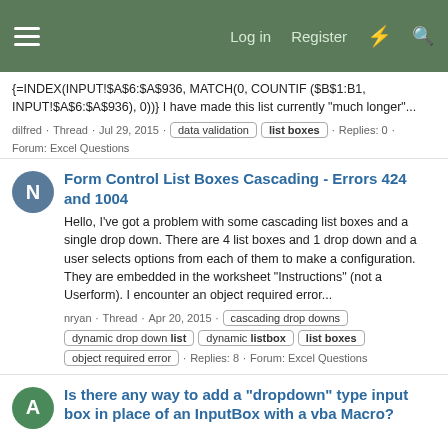Log in  Register
{=INDEX(INPUT!$A$6:$A$936, MATCH(0, COUNTIF ($B$1:B1, INPUT!$A$6:$A$936), 0))} I have made this list currently "much longer"...
dilfred · Thread · Jul 29, 2015 · data validation  list boxes · Replies: 0 · Forum: Excel Questions
Form Control List Boxes Cascading - Errors 424 and 1004
Hello, I've got a problem with some cascading list boxes and a single drop down. There are 4 list boxes and 1 drop down and a user selects options from each of them to make a configuration. They are embedded in the worksheet "Instructions" (not a Userform). I encounter an object required error...
nryan · Thread · Apr 20, 2015 · cascading drop downs  dynamic drop down list  dynamic listbox  list boxes  object required error · Replies: 8 · Forum: Excel Questions
Is there any way to add a "dropdown" type input box in place of an InputBox with a vba Macro?